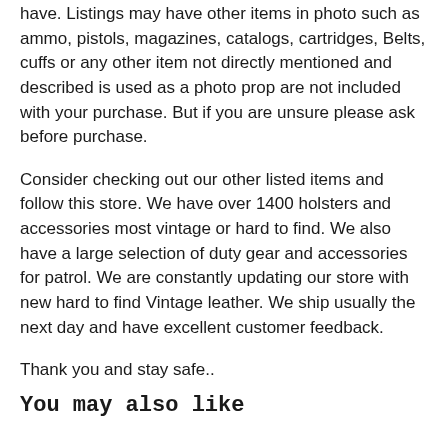have. Listings may have other items in photo such as ammo, pistols, magazines, catalogs, cartridges, Belts, cuffs or any other item not directly mentioned and described is used as a photo prop are not included with your purchase. But if you are unsure please ask before purchase.
Consider checking out our other listed items and follow this store. We have over 1400 holsters and accessories most vintage or hard to find. We also have a large selection of duty gear and accessories for patrol. We are constantly updating our store with new hard to find Vintage leather. We ship usually the next day and have excellent customer feedback.
Thank you and stay safe..
You may also like